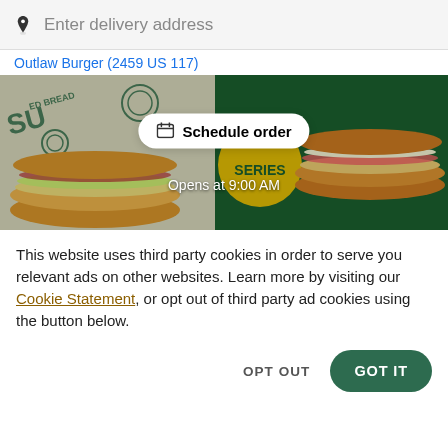Enter delivery address
Outlaw Burger (2459 US 117)
[Figure (photo): Subway restaurant promotional banner image showing two submarine sandwiches on a dark green background with a 'Schedule order' button overlay and 'Opens at 9:00 AM' text]
This website uses third party cookies in order to serve you relevant ads on other websites. Learn more by visiting our Cookie Statement, or opt out of third party ad cookies using the button below.
OPT OUT
GOT IT